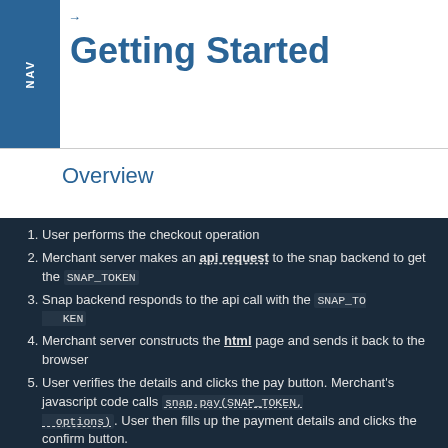Getting Started
Overview
User performs the checkout operation
Merchant server makes an api request to the snap backend to get the SNAP_TOKEN
Snap backend responds to the api call with the SNAP_TOKEN
Merchant server constructs the html page and sends it back to the browser
User verifies the details and clicks the pay button. Merchant's javascript code calls snap.pay(SNAP_TOKEN, options). User then fills up the payment details and clicks the confirm button.